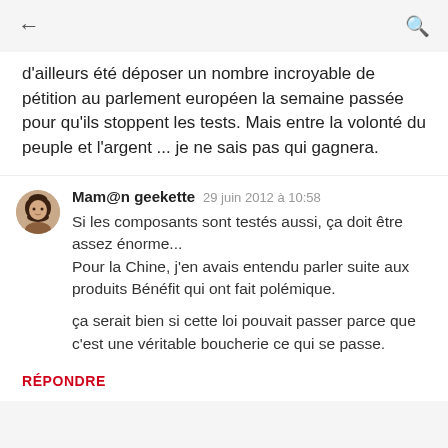d'ailleurs été déposer un nombre incroyable de pétition au parlement européen la semaine passée pour qu'ils stoppent les tests. Mais entre la volonté du peuple et l'argent ... je ne sais pas qui gagnera.
Mam@n geekette  29 juin 2012 à 10:58

Si les composants sont testés aussi, ça doit être assez énorme...
Pour la Chine, j'en avais entendu parler suite aux produits Bénéfit qui ont fait polémique.

ça serait bien si cette loi pouvait passer parce que c'est une véritable boucherie ce qui se passe.
RÉPONDRE